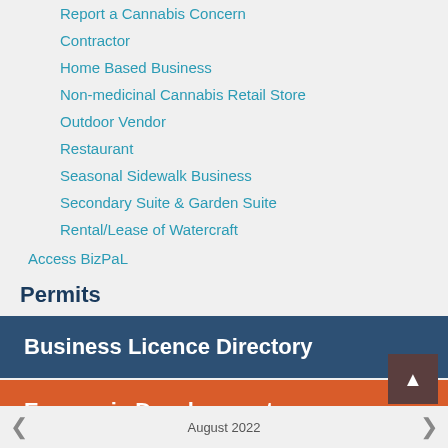Report a Cannabis Concern
Contractor
Home Based Business
Non-medicinal Cannabis Retail Store
Outdoor Vendor
Restaurant
Seasonal Sidewalk Business
Secondary Suite & Garden Suite
Rental/Lease of Watercraft
Access BizPaL
Permits
Business Licence Directory
Economic Development
August 2022